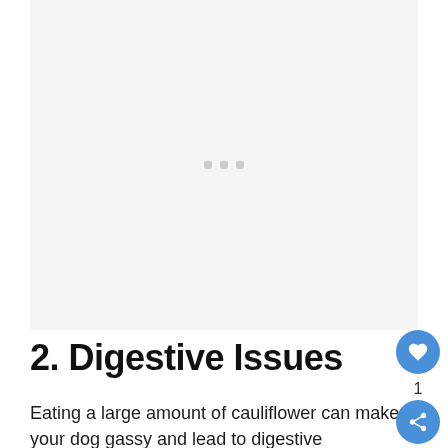[Figure (photo): Light gray placeholder image area with three small gray dots in the center]
2. Digestive Issues
Eating a large amount of cauliflower can make your dog gassy and lead to digestive